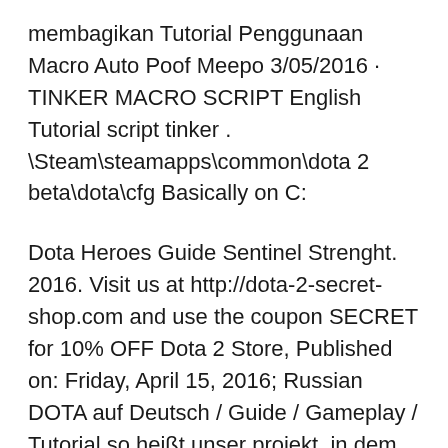membagikan Tutorial Penggunaan Macro Auto Poof Meepo 3/05/2016 · TINKER MACRO SCRIPT English Tutorial script tinker . \Steam\steamapps\common\dota 2 beta\dota\cfg Basically on C:
Dota Heroes Guide Sentinel Strenght. 2016. Visit us at http://dota-2-secret-shop.com and use the coupon SECRET for 10% OFF Dota 2 Store, Published on: Friday, April 15, 2016; Russian DOTA auf Deutsch / Guide / Gameplay / Tutorial so heißt unser projekt, in dem wir das DOTA 2 spiel erklären und Live
Download Cheat Dota 2 Terbaru 2016, Cheat ini untuk dota 2 offline maupun